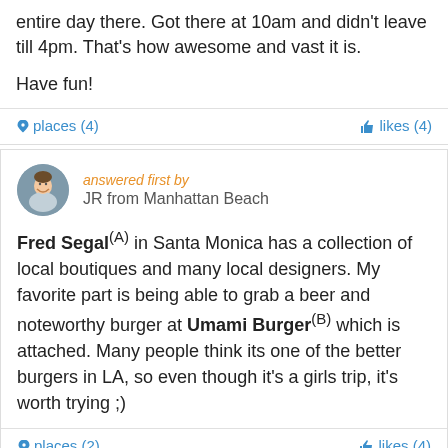entire day there. Got there at 10am and didn't leave till 4pm. That's how awesome and vast it is.

Have fun!
♥ places (4)    👍 likes (4)
answered first by
JR from Manhattan Beach
Fred Segal(A) in Santa Monica has a collection of local boutiques and many local designers. My favorite part is being able to grab a beer and noteworthy burger at Umami Burger(B) which is attached. Many people think its one of the better burgers in LA, so even though it's a girls trip, it's worth trying ;)
♥ places (2)    👍 likes (4)
answered by
Kristal from San Francisco